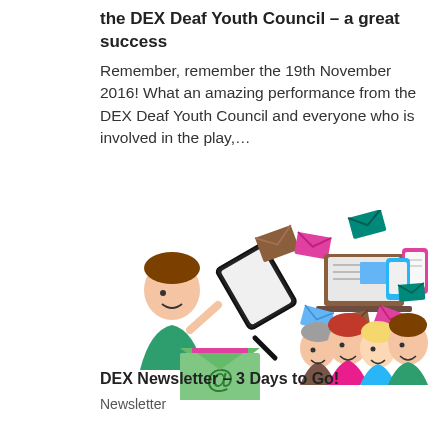the DEX Deaf Youth Council – a great success
Remember, remember the 19th November 2016! What an amazing performance from the DEX Deaf Youth Council and everyone who is involved in the play,…
[Figure (illustration): Colorful illustration showing a person holding a tablet with flying email envelopes, digital devices (laptop, phone), and a group of smiling people, with an '@' email envelope in the foreground.]
DEX Newsletter – 3 Days to Go!
Newsletter